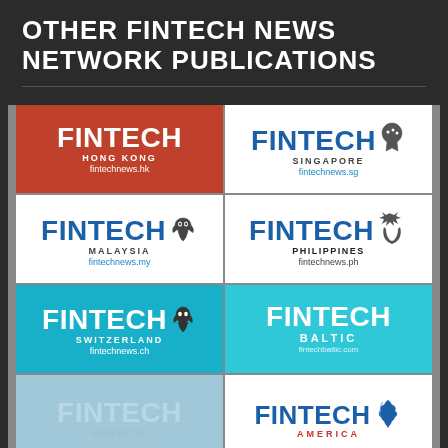OTHER FINTECH NEWS NETWORK PUBLICATIONS
[Figure (logo): Fintech Hong Kong logo - red background, white FINTECH text, HONG KONG subtitle, fintechnews.hk URL]
[Figure (logo): Fintech Singapore logo - white background, blue FINTECH text, merlion icon, SINGAPORE subtitle, fintechnews.sg URL]
[Figure (logo): Fintech Malaysia logo - white background, blue FINTECH text, tiger icon, MALAYSIA subtitle, fintechnews.my URL]
[Figure (logo): Fintech Philippines logo - white background, blue FINTECH text, eagle icon, PHILIPPINES subtitle, fintechnews.ph URL]
[Figure (logo): Fintech Switzerland logo - teal/cyan background, white FINTECH text, bear icon, SWITZERLAND subtitle, fintechnews.ch URL]
[Figure (logo): Fintech Baltic logo - light blue background, white FINTECH text, BALTIC subtitle, fintechbaltic.com URL]
[Figure (logo): Fintech Nordics logo - light blue background, light FINTECH text, NORDICS subtitle]
[Figure (logo): Fintech America logo - white background, blue FINTECH text, Americas map icon, AMERICA subtitle]